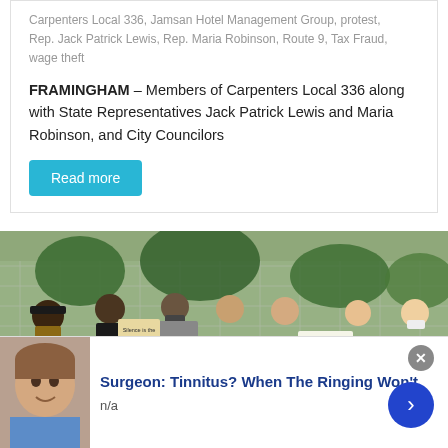Carpenters Local 336, Jamsan Hotel Management Group, protest, Rep. Jack Patrick Lewis, Rep. Maria Robinson, Route 9, Tax Fraud, wage theft
FRAMINGHAM – Members of Carpenters Local 336 along with State Representatives Jack Patrick Lewis and Maria Robinson, and City Councilors
Read more
[Figure (photo): Outdoor protest photograph showing a crowd of people wearing face masks and holding signs including 'Black Lives Matter' and 'Silence is the Side of the Oppressor'. The protest appears to take place near a chain-link fence with trees in the background.]
Surgeon: Tinnitus? When The Ringing Won't
n/a